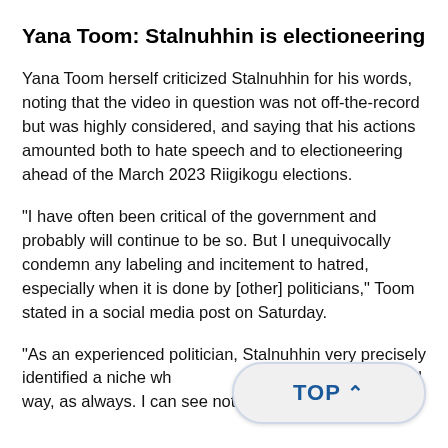Yana Toom: Stalnuhhin is electioneering
Yana Toom herself criticized Stalnuhhin for his words, noting that the video in question was not off-the-record but was highly considered, and saying that his actions amounted both to hate speech and to electioneering ahead of the March 2023 Riigikogu elections.
"I have often been critical of the government and probably will continue to be so. But I unequivocally condemn any labeling and incitement to hatred, especially when it is done by [other] politicians," Toom stated in a social media post on Saturday.
"As an experienced politician, Stalnuhhin very precisely identified a niche wh... d did it in a cynical way, as always. I can see nothing but